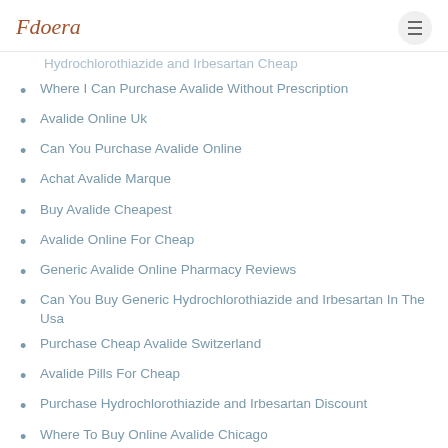Fdoera
Hydrochlorothiazide and Irbesartan Cheap
Where I Can Purchase Avalide Without Prescription
Avalide Online Uk
Can You Purchase Avalide Online
Achat Avalide Marque
Buy Avalide Cheapest
Avalide Online For Cheap
Generic Avalide Online Pharmacy Reviews
Can You Buy Generic Hydrochlorothiazide and Irbesartan In The Usa
Purchase Cheap Avalide Switzerland
Avalide Pills For Cheap
Purchase Hydrochlorothiazide and Irbesartan Discount
Where To Buy Online Avalide Chicago
Acheter Generic Avalide Usa
Acheter Du Avalide Sur Le Net
Buy Generic Hydrochlorothiazide and Irbesartan Canada
Hydrochlorothiazide and Irbesartan Sale Cheap